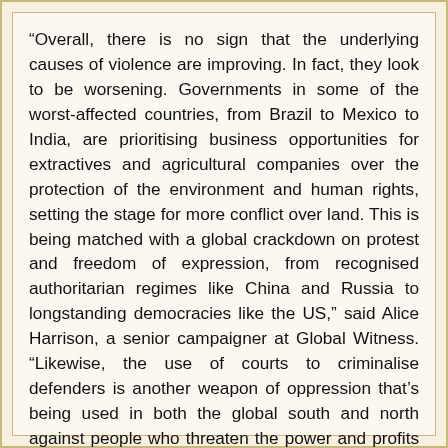“Overall, there is no sign that the underlying causes of violence are improving. In fact, they look to be worsening. Governments in some of the worst-affected countries, from Brazil to Mexico to India, are prioritising business opportunities for extractives and agricultural companies over the protection of the environment and human rights, setting the stage for more conflict over land. This is being matched with a global crackdown on protest and freedom of expression, from recognised authoritarian regimes like China and Russia to longstanding democracies like the US,” said Alice Harrison, a senior campaigner at Global Witness. “Likewise, the use of courts to criminalise defenders is another weapon of oppression that’s being used in both the global south and north against people who threaten the power and profits of government and big business.”
https://www.theguardian.com/environment/2019/jul/30/p